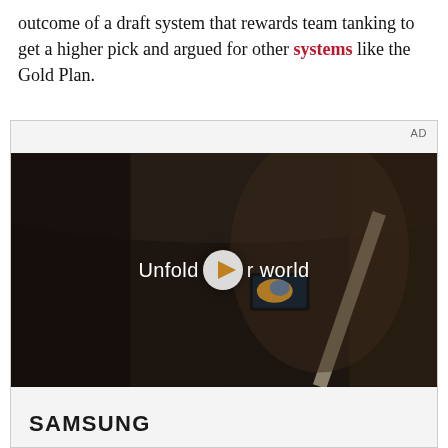outcome of a draft system that rewards team tanking to get a higher pick and argued for other systems like the Gold Plan.
[Figure (other): Samsung advertisement showing a video ad with a woman holding a foldable phone inside a car. Text overlay reads 'Unfold your world' with a play button. Samsung logo visible at the bottom of the ad unit. 'AD' label in top right corner.]